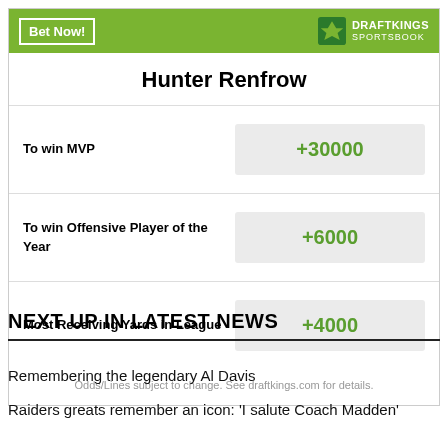Hunter Renfrow
| Bet Type | Odds |
| --- | --- |
| To win MVP | +30000 |
| To win Offensive Player of the Year | +6000 |
| Most Receiving Yards in League | +4000 |
Odds/Lines subject to change. See draftkings.com for details.
NEXT UP IN LATEST NEWS
Remembering the legendary Al Davis
Raiders greats remember an icon: 'I salute Coach Madden'